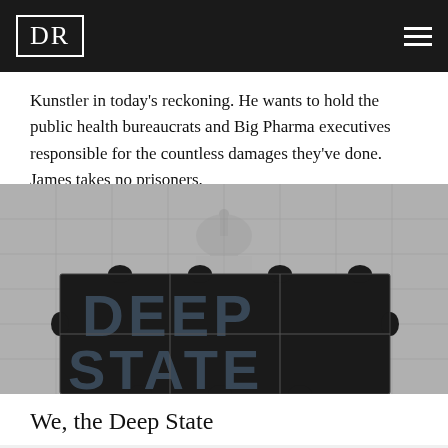DR
Kunstler in today’s reckoning. He wants to hold the public health bureaucrats and Big Pharma executives responsible for the countless damages they’ve done. James takes no prisoners.
[Figure (photo): A grayscale image showing jigsaw puzzle pieces with the US Capitol building visible in the background. In the foreground, large bold dark letters spell out 'DEEP STATE' across the puzzle pieces.]
We, the Deep State